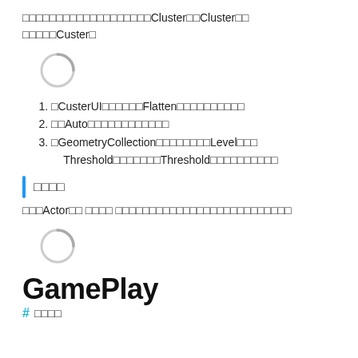□□□□□□□□□□□□□□□□□□□Cluster□□Cluster□□□□□□□Custer□
[Figure (other): Loading spinner icon (circular arc, gray)]
□CusterUI□□□□□□Flatten□□□□□□□□□□
□□Auto□□□□□□□□□□□□
□GeometryCollection□□□□□□□□Level□□□Threshold□□□□□□□Threshold□□□□□□□□□□
□□□□
□□□Actor□□ □□□□ □□□□□□□□□□□□□□□□□□□□□□□□□□
[Figure (other): Loading spinner icon (circular arc, gray)]
GamePlay
# □□□□